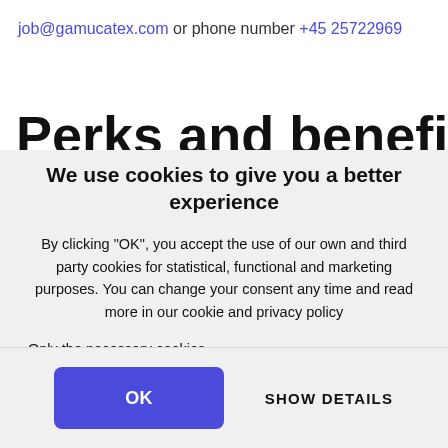job@gamucatex.com or phone number +45 25722969
Perks and benefits
We use cookies to give you a better experience
By clicking "OK", you accept the use of our own and third party cookies for statistical, functional and marketing purposes. You can change your consent any time and read more in our cookie and privacy policy
Only the necessary cookies
OK
SHOW DETAILS